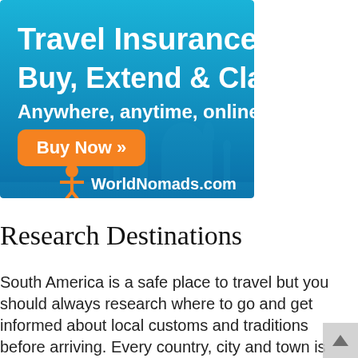[Figure (illustration): Travel Insurance advertisement banner for WorldNomads.com on a blue gradient background with silhouette of a mosque/Taj Mahal. Text reads: 'Travel Insurance Buy, Extend & Claim Anywhere, anytime, online' with an orange 'Buy Now »' button and WorldNomads.com logo with orange figure icon.]
Research Destinations
South America is a safe place to travel but you should always research where to go and get informed about local customs and traditions before arriving. Every country, city and town is